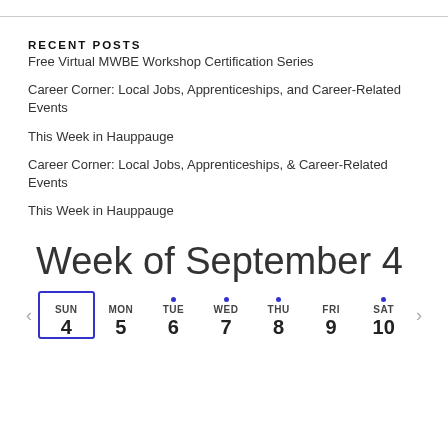RECENT POSTS
Free Virtual MWBE Workshop Certification Series
Career Corner: Local Jobs, Apprenticeships, and Career-Related Events
This Week in Hauppauge
Career Corner: Local Jobs, Apprenticeships, & Career-Related Events
This Week in Hauppauge
Week of September 4
[Figure (other): Weekly calendar navigation widget showing days SUN 4 through SAT 10, with SUN selected (boxed), and blue dots above TUE, WED, THU, and SAT. Navigation arrows on left and right.]